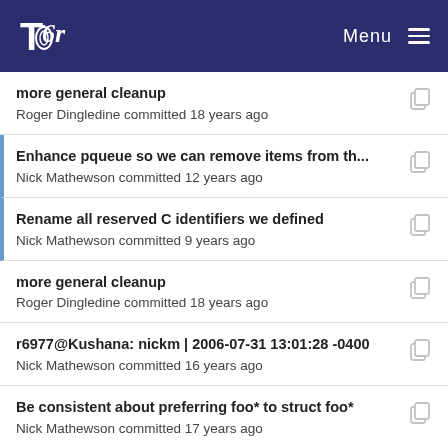Tor | Menu
more general cleanup
Roger Dingledine committed 18 years ago
Enhance pqueue so we can remove items from th...
Nick Mathewson committed 12 years ago
Rename all reserved C identifiers we defined
Nick Mathewson committed 9 years ago
more general cleanup
Roger Dingledine committed 18 years ago
r6977@Kushana: nickm | 2006-07-31 13:01:28 -0400
Nick Mathewson committed 16 years ago
Be consistent about preferring foo* to struct foo*
Nick Mathewson committed 17 years ago
more general cleanup
Roger Dingledine committed 18 years ago
Avoid hard (impossible?)-to-trigger double-free in